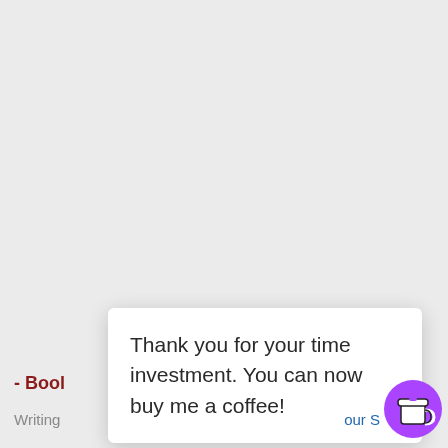Thank you for your time investment. You can now buy me a coffee!
- Book
Writing
our S